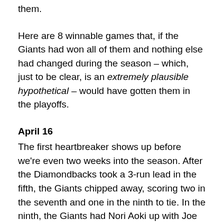them.
Here are 8 winnable games that, if the Giants had won all of them and nothing else had changed during the season – which, just to be clear, is an extremely plausible hypothetical – would have gotten them in the playoffs.
April 16
The first heartbreaker shows up before we're even two weeks into the season. After the Diamondbacks took a 3-run lead in the fifth, the Giants chipped away, scoring two in the seventh and one in the ninth to tie. In the ninth, the Giants had Nori Aoki up with Joe Panik on third and two outs, and Aoki struck out. If he had just gotten a dang hit, then . . . you know what? Getting a hit in the majors is hard. Maybe it's unfair to expect that